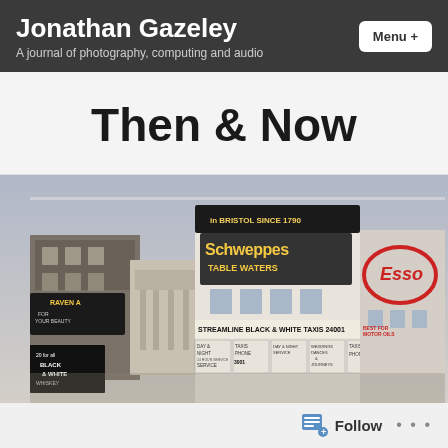Jonathan Gazeley — A journal of photography, computing and audio
Then & Now
[Figure (photo): Vintage colour photograph of a Bristol city street scene showing old commercial buildings with large advertising signs including 'Schweppes Table Waters', 'In Bristol Since 1790', 'Raven A...For Your Beauty', 'Esso', 'Streamline Black & White Taxis 24001', 'Day & Night Service'. Old shops and taxis visible at street level.]
Follow